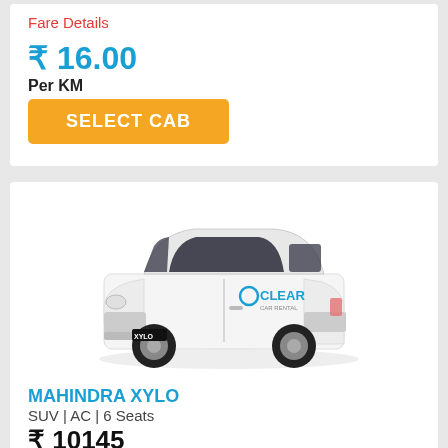Fare Details
₹ 16.00
Per KM
SELECT CAB
[Figure (photo): White Mahindra Xylo SUV with Clear Car Rental branding on the side]
MAHINDRA XYLO
SUV | AC | 6 Seats
₹ 10145
Fare Details